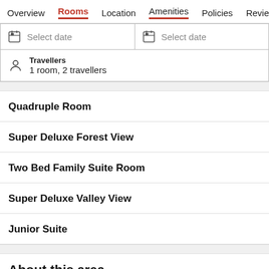Overview  Rooms  Location  Amenities  Policies  Reviews
Select date  Select date
Travellers
1 room, 2 travellers
Quadruple Room
Super Deluxe Forest View
Two Bed Family Suite Room
Super Deluxe Valley View
Junior Suite
About this area